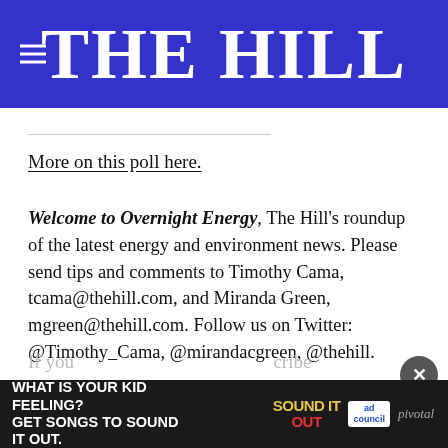THE HILL
More on this poll here.
Welcome to Overnight Energy, The Hill's roundup of the latest energy and environment news. Please send tips and comments to Timothy Cama, tcama@thehill.com, and Miranda Green, mgreen@thehill.com. Follow us on Twitter: @Timothy_Cama, @mirandacgreen, @thehill.
If you...cribe to...
[Figure (screenshot): Ad banner: WHAT IS YOUR KID FEELING? GET SONGS TO SOUND IT OUT. Sound It Out ad council pivotal]